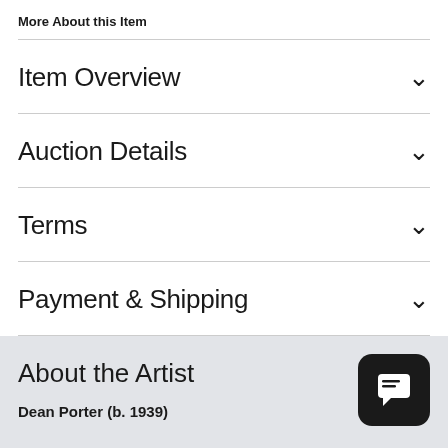More About this Item
Item Overview
Auction Details
Terms
Payment & Shipping
About the Artist
Dean Porter (b. 1939)